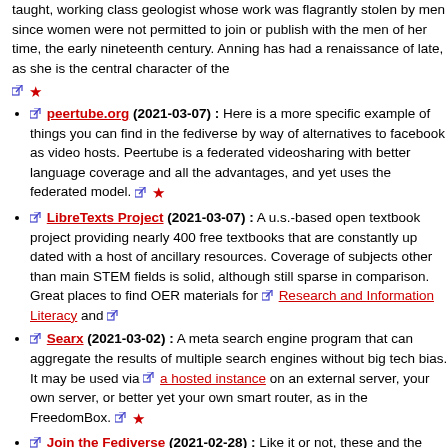taught, working class geologist whose work was flagrantly stolen by men since women were not permitted to join or publish with the men of her time, the early nineteenth century. Anning has had a renaissance of late, as she is the central character of the
peertube.org (2021-03-07) : Here is a more specific example of things you can find in the fediverse by way of alternatives to facebook as video hosts. Peertube is a federated videosharing with better language coverage and all the advantages, and yet uses the federated model.
LibreTexts Project (2021-03-07) : A u.s.-based open t... providing nearly 400 free textbooks that are constantly up... of ancillary resources. Coverage of subjects other than m... is solid, although still sparse in comparison. Great places materials for Research and Information Literacy and
Searx (2021-03-02) : A meta search engine program th... aggregate the results of multiple search engines without h... It may be used via a hosted instance on an external se... own server, or better yet your own smart router, as in the FreedomBox.
Join the Fediverse (2021-02-28) : Like it or not, these... extreme level of censorship and groupthink among adver... majority utterly coopted mainstream media which is leadi... people being censored and banned on top of the struggle... constructive discussion and truthfinding. One means of c...